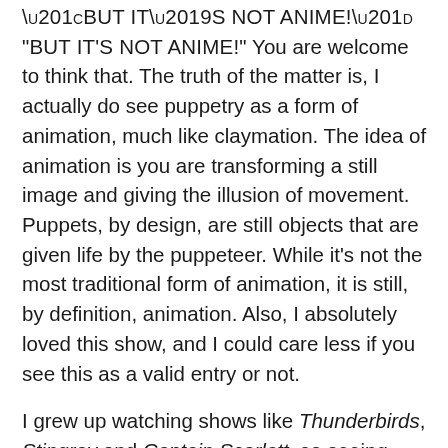“BUT IT’S NOT ANIME!” You are welcome to think that. The truth of the matter is, I actually do see puppetry as a form of animation, much like claymation. The idea of animation is you are transforming a still image and giving the illusion of movement. Puppets, by design, are still objects that are given life by the puppeteer. While it’s not the most traditional form of animation, it is still, by definition, animation. Also, I absolutely loved this show, and I could care less if you see this as a valid entry or not.
I grew up watching shows like Thunderbirds, Stingray and Captain Scarlett, so seeing Thunderbolt Fantasy this year instantly took me back to my childhood. I loved this epic fantasy show about acquiring team members to go on a quest to retrieve pieces of an ancient weapon that could destroy the world if placed in the wrong hands. The designs of the puppets are gorgeous, the fight scenes are